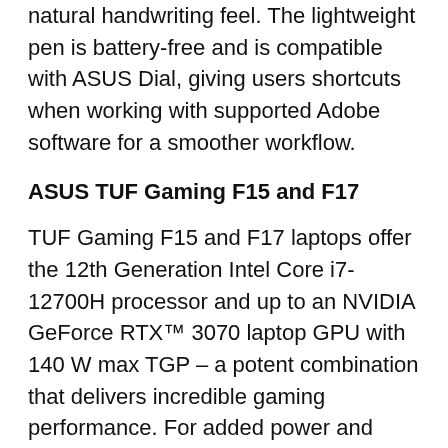natural handwriting feel. The lightweight pen is battery-free and is compatible with ASUS Dial, giving users shortcuts when working with supported Adobe software for a smoother workflow.
ASUS TUF Gaming F15 and F17
TUF Gaming F15 and F17 laptops offer the 12th Generation Intel Core i7-12700H processor and up to an NVIDIA GeForce RTX™ 3070 laptop GPU with 140 W max TGP – a potent combination that delivers incredible gaming performance. For added power and control, a hardware MUX Switch gets around a performance drawback of gaming laptops, which tend to route the GPU's frames via the CPU's integrated graphics to the display. Gamers can use Armoury Crate to fire up a direct GPU mode that reduces latency and improves performance by 5%-10% on average. To match these performance gains, the laptops' Arc Flow Fans